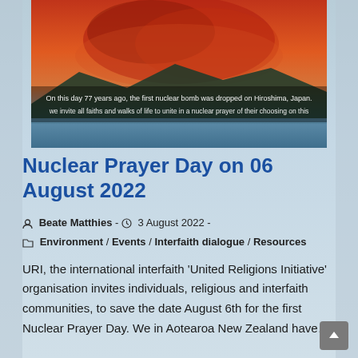[Figure (photo): Hero image showing a nuclear/sunset sky scene with text overlay: 'On this day 77 years ago, the first nuclear bomb was dropped on Hiroshima, Japan. We invite all faiths and walks of life to unite in a nuclear prayer of their choosing on this']
Nuclear Prayer Day on 06 August 2022
Beate Matthies  -  3 August 2022  -  Environment / Events / Interfaith dialogue / Resources
URI, the international interfaith 'United Religions Initiative' organisation invites individuals, religious and interfaith communities, to save the date August 6th for the first Nuclear Prayer Day. We in Aotearoa New Zealand have…